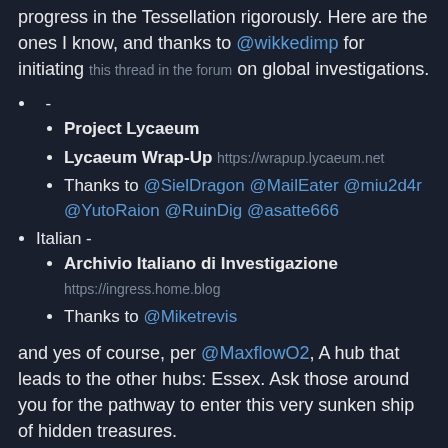...international interfaces that keep track of your own progress in the Tessellation rigorously. Here are the ones I know, and thanks to @wikkedimp for initiating this thread in the forum on global investigations.
- (unnamed)
Project Lycaeum
Lycaeum Wrap-Up https://wrapup.lycaeum.net
Thanks to @SielDragon @MailEater @miu2d4r @YutoRaion @RuinDig @asatte666
Italian -
Archivio Italiano di Investigazione https://ingress.home.blog
Thanks to @Miketrevis
and yes of course, per @MaxflowO2, A hub that leads to the other hubs: Essex. Ask those around you for the pathway to enter this very sunken ship of hidden treasures.